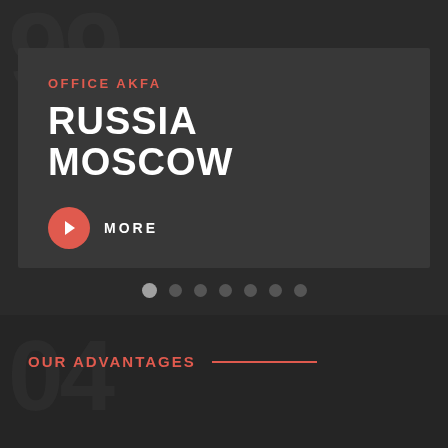[Figure (screenshot): Website screenshot showing an office location card for AKFA Russia Moscow, with a red play button labeled MORE, pagination dots, and an OUR ADVANTAGES section below]
OFFICE AKFA
RUSSIA MOSCOW
MORE
OUR ADVANTAGES